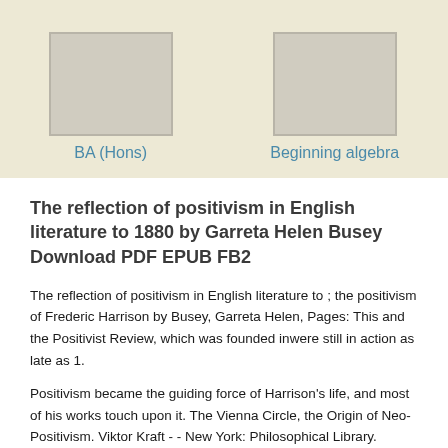[Figure (illustration): Two book cover thumbnails on a beige background]
BA (Hons)
Beginning algebra
The reflection of positivism in English literature to 1880 by Garreta Helen Busey Download PDF EPUB FB2
The reflection of positivism in English literature to ; the positivism of Frederic Harrison by Busey, Garreta Helen, Pages: This and the Positivist Review, which was founded inwere still in action as late as 1.
Positivism became the guiding force of Harrison's life, and most of his works touch upon it. The Vienna Circle, the Origin of Neo-Positivism. Viktor Kraft - - New York: Philosophical Library.
The Reflection of Positivism in English Literature to Categories: Legal Positivism in Philosophy of. Similar books and articles. The Reflection of Positivism in English Literature to Garreta Helen Busey - - Urbana, Ill. A Defense of Legal Positivism. Inclusive Legal Positivism. Legal